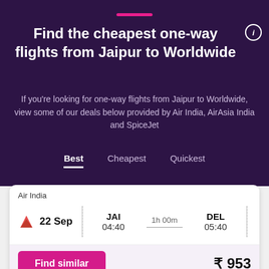Find the cheapest one-way flights from Jaipur to Worldwide
If you're looking for one-way flights from Jaipur to Worldwide, view some of our deals below provided by Air India, AirAsia India and SpiceJet
Best   Cheapest   Quickest
| Airline | Date | From | Duration | To | Price |
| --- | --- | --- | --- | --- | --- |
| Air India | 22 Sep | JAI 04:40 | 1h 00m | DEL 05:40 | ₹ 953 |